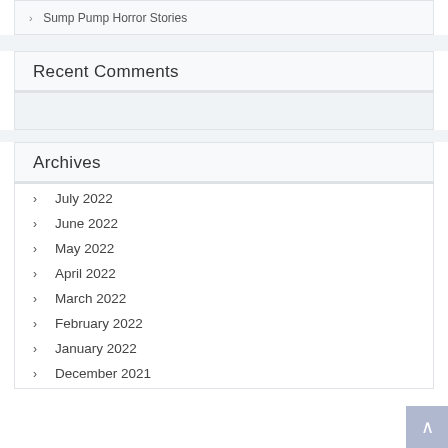Sump Pump Horror Stories
Recent Comments
Archives
July 2022
June 2022
May 2022
April 2022
March 2022
February 2022
January 2022
December 2021